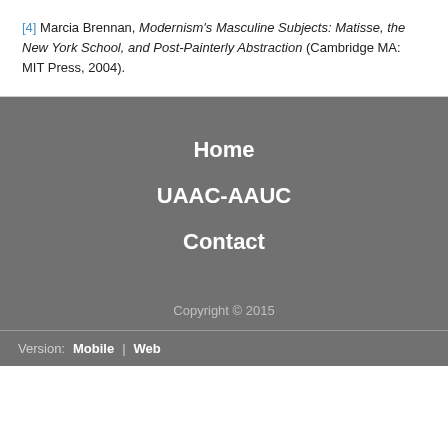[4] Marcia Brennan, Modernism's Masculine Subjects: Matisse, the New York School, and Post-Painterly Abstraction (Cambridge MA: MIT Press, 2004).
Home
UAAC-AAUC
Contact
Copyright © 2015
Version: Mobile | Web